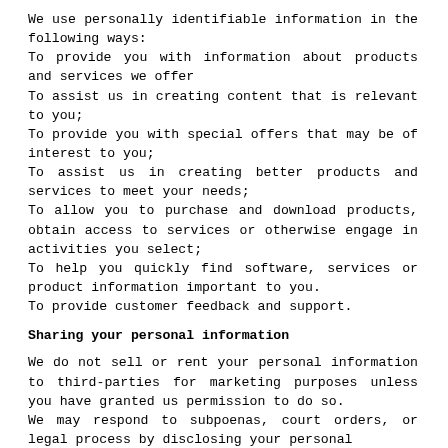We use personally identifiable information in the following ways:
To provide you with information about products and services we offer
To assist us in creating content that is relevant to you;
To provide you with special offers that may be of interest to you;
To assist us in creating better products and services to meet your needs;
To allow you to purchase and download products, obtain access to services or otherwise engage in activities you select;
To help you quickly find software, services or product information important to you.
To provide customer feedback and support.
Sharing your personal information
We do not sell or rent your personal information to third-parties for marketing purposes unless you have granted us permission to do so.
We may respond to subpoenas, court orders, or legal process by disclosing your personal